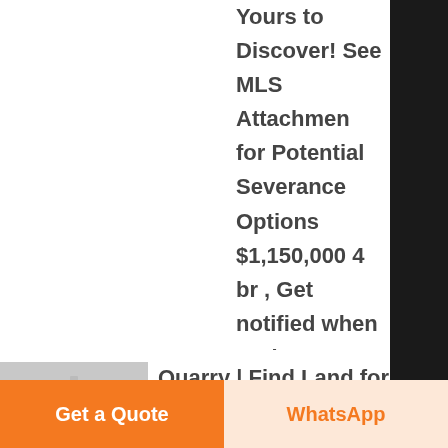Yours to Discover! See MLS Attachments for Potential Severance Options $1,150,000 4 br , Get notified when we have new listings available for ontario quarry x Receive the latest ....
[Figure (photo): Small industrial container or tank, gray colored, photographed from above]
Quarry | Find Land for Sale in Ontario | Kijiji Classifieds - Know More
Find Quarry in Land for Sale | Land for sale in Ontario ! Find farms, farmland, beach properties, forest, cottage lots, offered for sale by owner or realtor on
Get a Quote
WhatsApp